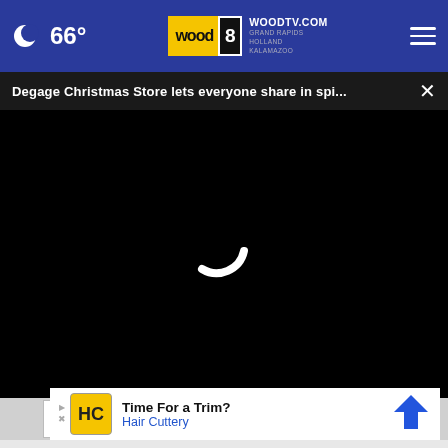66° | WOODTV.COM GRAND RAPIDS HOLLAND KALAMAZOO
Degage Christmas Store lets everyone share in spi...  ×
[Figure (screenshot): Black video player area with a white loading spinner (partial circle arc) centered on screen]
Your email  ×
[Figure (infographic): Advertisement banner: HC logo (yellow square), 'Time For a Trim? Hair Cuttery' with blue navigation arrow icon on right]